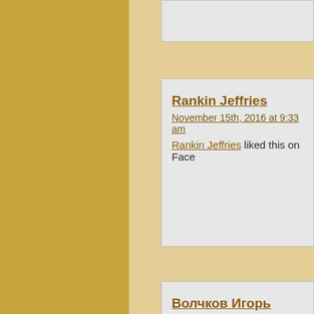Rankin Jeffries liked this on Face...
November 15th, 2016 at 9:33 am
Rankin Jeffries
Волчков Игорь liked this on Fac...
November 15th, 2016 at 10:16 am
Волчков Игорь
Hammad Kt liked this on Facebo...
November 15th, 2016 at 10:16 am
Hammad Kt
Chris Brandt